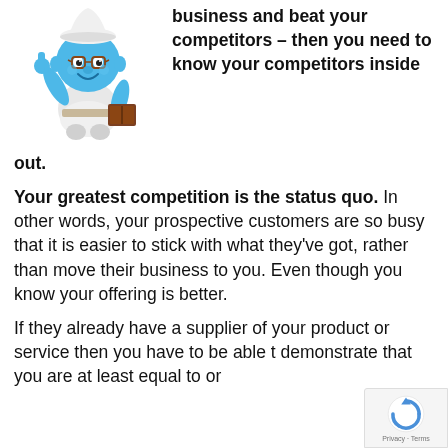[Figure (illustration): A Smurf character wearing glasses and holding a book, pointing upward with one finger]
business and beat your competitors – then you need to know your competitors inside out.
Your greatest competition is the status quo. In other words, your prospective customers are so busy that it is easier to stick with what they've got, rather than move their business to you. Even though you know your offering is better.
If they already have a supplier of your product or service then you have to be able to demonstrate that you are at least equal to or